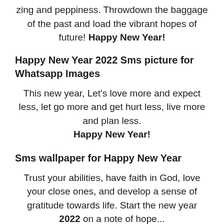zing and peppiness. Throwdown the baggage of the past and load the vibrant hopes of future! Happy New Year!
Happy New Year 2022 Sms picture for Whatsapp Images
This new year, Let’s love more and expect less, let go more and get hurt less, live more and plan less. Happy New Year!
Sms wallpaper for Happy New Year
Trust your abilities, have faith in God, love your close ones, and develop a sense of gratitude towards life. Start the new year 2022 on a note of hope...